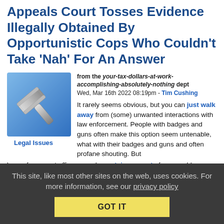Appeals Court Tosses Evidence Illegally Obtained By Opportunistic Cops Who Couldn’t Take ‘Nah’ For An Answer
from the your-tax-dollars-at-work-accomplishing-absolutely-nothing dept
Wed, Mar 16th 2022 08:19pm - Tim Cushing
[Figure (illustration): Gavel icon illustration on blue gradient background]
Legal Issues
It rarely seems obvious, but you can just walk away from (some) unwanted interactions with law enforcement. People with badges and guns often make this option seem untenable, what with their badges and guns and often profane shouting. But law enforcement officers need a certain amount of reasonable suspicion to detain people. But the less people know, the more often officers are able to engage in suspicionless searches and
This site, like most other sites on the web, uses cookies. For more information, see our privacy policy
GOT IT